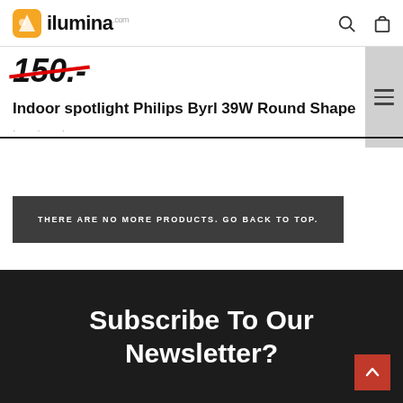ilumina.com — logo and navigation header
150 (strikethrough price)
Indoor spotlight Philips Byrl 39W Round Shape
THERE ARE NO MORE PRODUCTS. GO BACK TO TOP.
Subscribe To Our Newsletter?